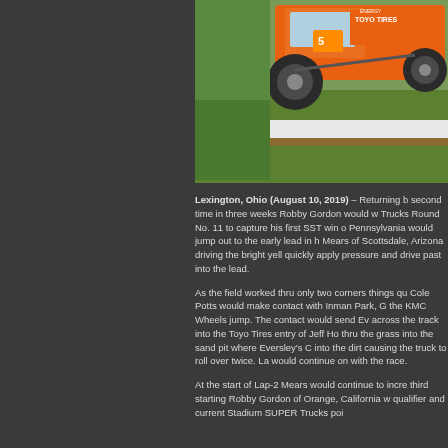[Figure (photo): Orange Stadium SUPER Trucks race car airborne over a jump at a racing event, with green grass visible below and advertising logos including Toyo Tires visible on the vehicle]
Lexington, Ohio (August 10, 2019) – Returning b... second time in three weeks Robby Gordon would w... Trucks Round No. 11 to capture his first SST win o... Pennsylvania would jump out to the early lead in h... Mears of Scottsdale, Arizona driving the bright yell... quickly apply pressure and drive past into the lead.
As the field worked thru only two corners things qu... Cole Potts would make contact with Inman Park, G... the KMC Wheels jump. The contact would send Ev... across the track into the Toyo Tires entry of Jeff Ho... thru the grass into the sand pit where Eversley's C... into the dirt causing the truck to roll over twice. La... would continue on with the race.
At the start of Lap-2 Mears would continue to incre... third starting Robby Gordon of Orange, California w... qualifier and current Stadium SUPER Trucks poi...